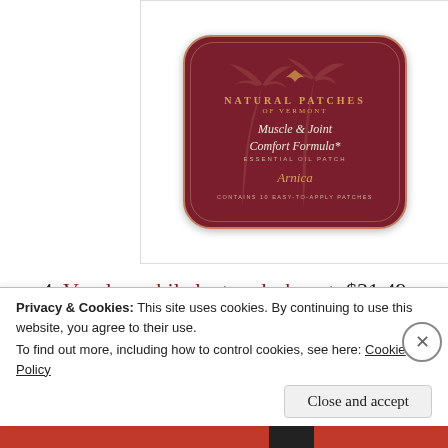[Figure (photo): Product tin label for Natural Patches of Vermont Muscle & Joint Comfort Formula Essential Oil Patch, Arnica variety, containing 10 easy-to-apply patches. Dark red/maroon rounded rectangle tin with gold text and palm tree decoration.]
4. Vecelo mobile laptop desk cart: $31.49
This is a product I use every day as an
Privacy & Cookies: This site uses cookies. By continuing to use this website, you agree to their use.
To find out more, including how to control cookies, see here: Cookie Policy
Close and accept